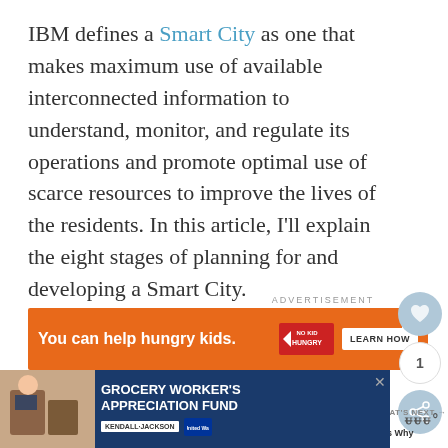IBM defines a Smart City as one that makes maximum use of available interconnected information to understand, monitor, and regulate its operations and promote optimal use of scarce resources to improve the lives of the residents. In this article, I'll explain the eight stages of planning for and developing a Smart City.
[Figure (screenshot): Advertisement banner: orange background with text 'You can help hungry kids.' and No Kid Hungry logo, with LEARN HOW button]
[Figure (screenshot): Bottom advertisement for Grocery Worker's Appreciation Fund featuring Kendall-Jackson and United Way logos]